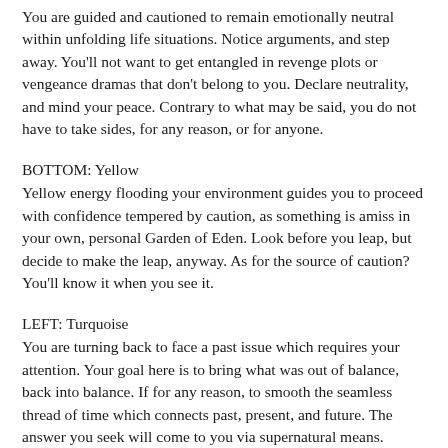You are guided and cautioned to remain emotionally neutral within unfolding life situations. Notice arguments, and step away. You'll not want to get entangled in revenge plots or vengeance dramas that don't belong to you. Declare neutrality, and mind your peace. Contrary to what may be said, you do not have to take sides, for any reason, or for anyone.
BOTTOM: Yellow
Yellow energy flooding your environment guides you to proceed with confidence tempered by caution, as something is amiss in your own, personal Garden of Eden. Look before you leap, but decide to make the leap, anyway. As for the source of caution? You'll know it when you see it.
LEFT: Turquoise
You are turning back to face a past issue which requires your attention. Your goal here is to bring what was out of balance, back into balance. If for any reason, to smooth the seamless thread of time which connects past, present, and future. The answer you seek will come to you via supernatural means. Consult a Shaman for